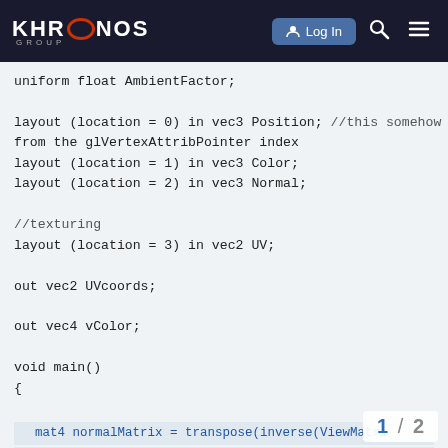Khronos Group — Log In
uniform float AmbientFactor;

layout (location = 0) in vec3 Position; //this somehow is effecting from the glVertexAttribPointer index
layout (location = 1) in vec3 Color;
layout (location = 2) in vec3 Normal;

//texturing
layout (location = 3) in vec2 UV;

out vec2 UVcoords;

out vec4 vColor;

void main()
{
mat4 normalMatrix = transpose(inverse(ViewMatri
    vec3 normal = normalize((normalMatrix * vec(

    vec3 lightPosition1 = (ViewMat
1 / 2